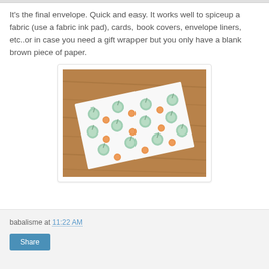It's the final envelope. Quick and easy. It works well to spiceup a fabric (use a fabric ink pad), cards, book covers, envelope liners, etc..or in case you need a gift wrapper but you only have a blank brown piece of paper.
[Figure (photo): A white envelope decorated with green apple stamps and orange circular stamps, placed at an angle on a wooden table surface.]
babalisme at 11:22 AM  Share